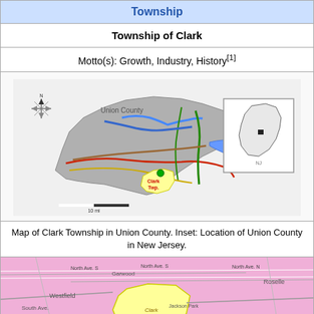Township
Township of Clark
Motto(s): Growth, Industry, History[1]
[Figure (map): Map of Clark Township in Union County, NJ, with inset showing location of Union County in New Jersey. Compass rose visible top-left. Scale bar at bottom.]
Map of Clark Township in Union County. Inset: Location of Union County in New Jersey.
[Figure (map): Detailed street/area map showing Clark Township highlighted in yellow, surrounded by neighboring municipalities on pink background including Westfield, Garwood, Roselle, and others. New York-Newark UA labeled at bottom.]